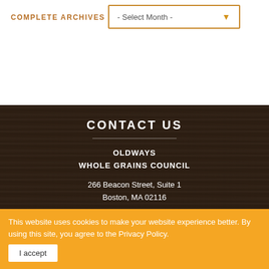COMPLETE ARCHIVES
- Select Month -
CONTACT US
OLDWAYS
WHOLE GRAINS COUNCIL
266 Beacon Street, Suite 1
Boston, MA 02116
TEL 617-421-5500
FAX 617-421-5511
This website uses cookies to make your website experience better. By using this site, you agree to the Privacy Policy.
I accept